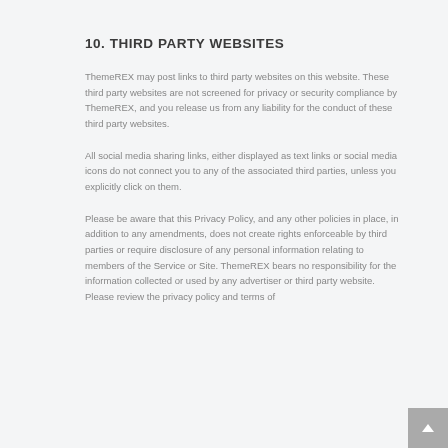10. THIRD PARTY WEBSITES
ThemeREX may post links to third party websites on this website. These third party websites are not screened for privacy or security compliance by ThemeREX, and you release us from any liability for the conduct of these third party websites.
All social media sharing links, either displayed as text links or social media icons do not connect you to any of the associated third parties, unless you explicitly click on them.
Please be aware that this Privacy Policy, and any other policies in place, in addition to any amendments, does not create rights enforceable by third parties or require disclosure of any personal information relating to members of the Service or Site. ThemeREX bears no responsibility for the information collected or used by any advertiser or third party website. Please review the privacy policy and terms of